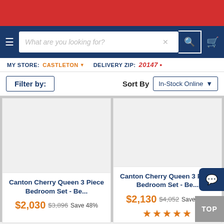[Figure (screenshot): E-commerce website header with red bar at top]
What are you looking for?
MY STORE: CASTLETON ▾   DELIVERY ZIP: 20147 ▾
Filter by:
Sort By   In-Stock Online ▼
Canton Cherry Queen 3 Piece Bedroom Set - Be...
$2,030  $3,896  Save 48%
Canton Cherry Queen 3 Piece Bedroom Set - Be...
$2,130  $4,052  Save 47%
★★★★★